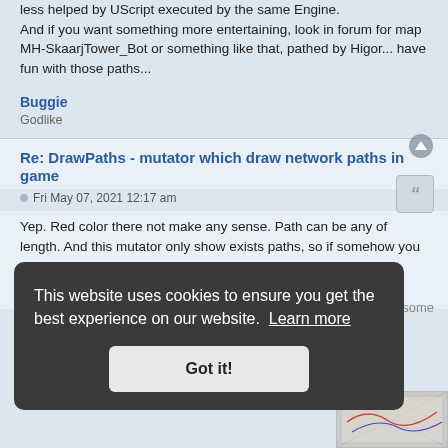less helped by UScript executed by the same Engine. And if you want something more entertaining, look in forum for map MH-SkaarjTower_Bot or something like that, pathed by Higor... have fun with those paths...
Buggie
Godlike
Re: DrawPaths - mutator which draw network paths in game
Fri May 07, 2021 12:17 am
Yep. Red color there not make any sense. Path can be any of length. And this mutator only show exists paths, so if somehow you get this 100 500 uu path then it fine.
In next version i remove coloring based on 2D distance.
This website uses cookies to ensure you get the best experience on our website. Learn more
Got it!